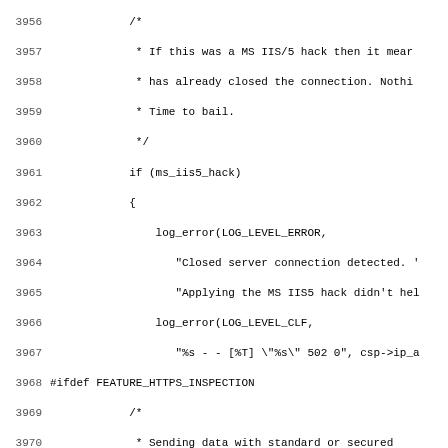Source code listing, lines 3956-3987, showing C code for MS IIS/5 hack handling, SSL connection logic, and FEATURE_HTTPS_INSPECTION conditional compilation blocks.